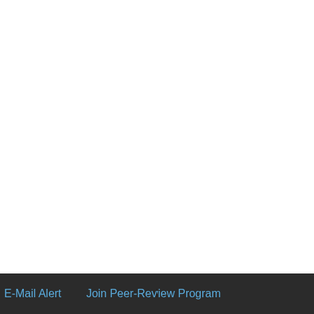hyperhomocysteinemia... C667T has been possibly suggested that the level of Ventura et al. [41] MTH factors of hyperhomocys cirrhosis but not in other to fibrogenesis and vascu
The most remarkable res A1298C) genotypes. 61(5 MTHFR C677T polymorph A/C genotype and 20 ( genotypes and alleles de MTHFR A1298C homozygous the literature [38]. This m A1298C polymorphism m (CC) was related to the fib
Top
ABSTRACT
INTRODUCTION
PATIENTS AND METHODES
RESULTS
DISCUSSION
E-Mail Alert    Join Peer-Review Program